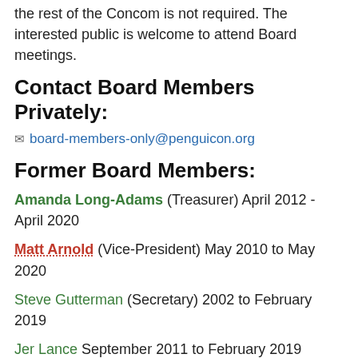the rest of the Concom is not required. The interested public is welcome to attend Board meetings.
Contact Board Members Privately:
✉ board-members-only@penguicon.org
Former Board Members:
Amanda Long-Adams (Treasurer) April 2012 - April 2020
Matt Arnold (Vice-President) May 2010 to May 2020
Steve Gutterman (Secretary) 2002 to February 2019
Jer Lance September 2011 to February 2019
Gini Judd June 2009 to January 2019
Mark Szlaga, June 2010 to September 2012